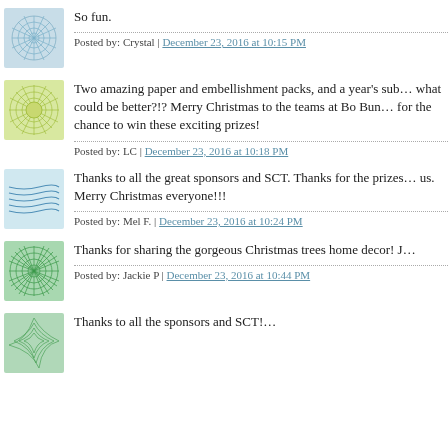[Figure (illustration): Avatar icon - blue/teal geometric snowflake pattern]
So fun.
Posted by: Crystal | December 23, 2016 at 10:15 PM
[Figure (illustration): Avatar icon - green/yellow starburst/sunburst pattern]
Two amazing paper and embellishment packs, and a year's sub... what could be better?!? Merry Christmas to the teams at Bo Bun... for the chance to win these exciting prizes!
Posted by: LC | December 23, 2016 at 10:18 PM
[Figure (illustration): Avatar icon - blue wavy lines pattern]
Thanks to all the great sponsors and SCT. Thanks for the prizes... us. Merry Christmas everyone!!!
Posted by: Mel F. | December 23, 2016 at 10:24 PM
[Figure (illustration): Avatar icon - green radiating sunburst/spiky pattern]
Thanks for sharing the gorgeous Christmas trees home decor! J...
Posted by: Jackie P | December 23, 2016 at 10:44 PM
[Figure (illustration): Avatar icon - green organic leaf/feather pattern]
Thanks to all the sponsors and SCT!...